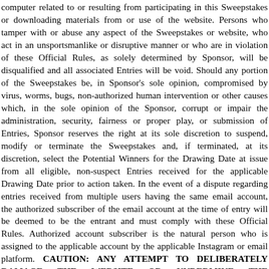computer related to or resulting from participating in this Sweepstakes or downloading materials from or use of the website. Persons who tamper with or abuse any aspect of the Sweepstakes or website, who act in an unsportsmanlike or disruptive manner or who are in violation of these Official Rules, as solely determined by Sponsor, will be disqualified and all associated Entries will be void. Should any portion of the Sweepstakes be, in Sponsor's sole opinion, compromised by virus, worms, bugs, non-authorized human intervention or other causes which, in the sole opinion of the Sponsor, corrupt or impair the administration, security, fairness or proper play, or submission of Entries, Sponsor reserves the right at its sole discretion to suspend, modify or terminate the Sweepstakes and, if terminated, at its discretion, select the Potential Winners for the Drawing Date at issue from all eligible, non-suspect Entries received for the applicable Drawing Date prior to action taken. In the event of a dispute regarding entries received from multiple users having the same email account, the authorized subscriber of the email account at the time of entry will be deemed to be the entrant and must comply with these Official Rules. Authorized account subscriber is the natural person who is assigned to the applicable account by the applicable Instagram or email platform. CAUTION: ANY ATTEMPT TO DELIBERATELY DAMAGE THE WEBSITE OR UNDERMINE THE LEGITIMATE OPERATION OF THE SWEEPSTAKES MAY BE IN VIOLATION OF CRIMINAL AND CIVIL LAWS AND SHOULD SUCH AN ATTEMPT BE MADE, SPONSOR RESERVES THE RIGHT TO SEEK ANY AND ALL REMEDIES AVAILABLE (INCLUDING ATTORNEYS' FEES) FROM